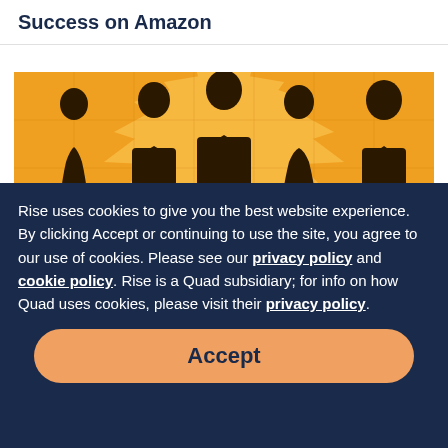Success on Amazon
[Figure (illustration): Silhouettes of five people posed confidently against an orange sunburst background with a jigsaw puzzle pattern overlay.]
Rise uses cookies to give you the best website experience. By clicking Accept or continuing to use the site, you agree to our use of cookies. Please see our privacy policy and cookie policy. Rise is a Quad subsidiary; for info on how Quad uses cookies, please visit their privacy policy.
Accept